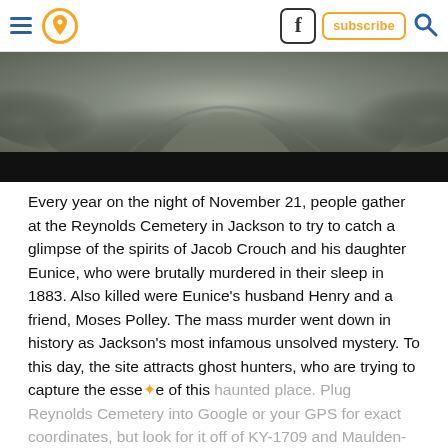Navigation header with hamburger menu, pin icon, Facebook button, subscribe button, search icon
[Figure (photo): Black and white image of a stone cemetery monument or gravestone, with a dark black bar at the bottom]
Every year on the night of November 21, people gather at the Reynolds Cemetery in Jackson to try to catch a glimpse of the spirits of Jacob Crouch and his daughter Eunice, who were brutally murdered in their sleep in 1883. Also killed were Eunice's husband Henry and a friend, Moses Polley. The mass murder went down in history as Jackson's most infamous unsolved mystery. To this day, the site attracts ghost hunters, who are trying to capture the essence of this haunted place. Plug Reynolds Cemetery into Google or your GPS for exact coordinates, but look for it off of KY-1709 and Maulden-Owsley County Line Road near Tyner, KY 40486.